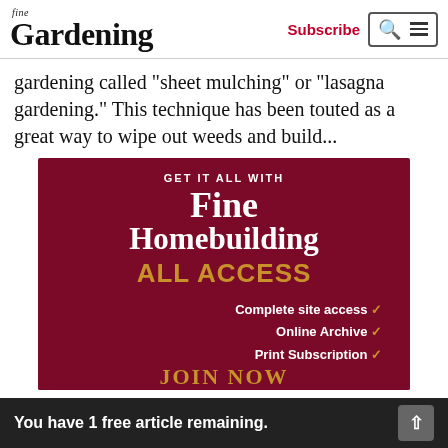fine Gardening | Subscribe
gardening called "sheet mulching" or "lasagna gardening." This technique has been touted as a great way to wipe out weeds and build...
[Figure (infographic): Fine Homebuilding All Access advertisement banner on dark red background. Text reads: GET IT ALL WITH Fine Homebuilding ALL ACCESS. Complete site access, Online Archive, Print Subscription with gold checkmarks. JOIN NOW partially visible at bottom.]
You have 1 free article remaining.